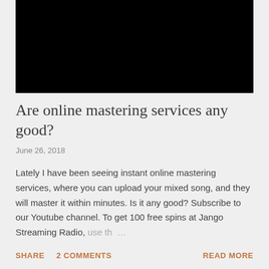[Figure (photo): Black rectangle representing a video thumbnail or image placeholder]
Are online mastering services any good?
June 26, 2018
Lately I have been seeing instant online mastering services, where you can upload your mixed song, and they will master it within minutes. Is it any good? Subscribe to our Youtube channel. To get 100 free spins at Jango Streaming Radio, use th …
SHARE   2 COMMENTS   READ MORE